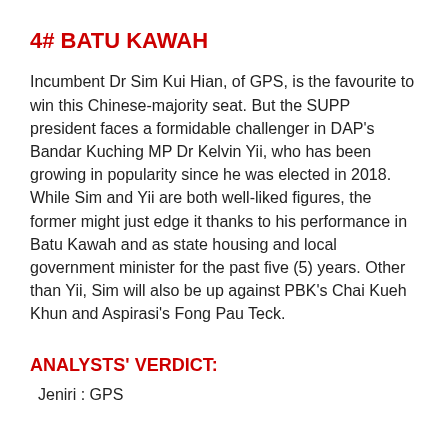4# BATU KAWAH
Incumbent Dr Sim Kui Hian, of GPS, is the favourite to win this Chinese-majority seat. But the SUPP president faces a formidable challenger in DAP's Bandar Kuching MP Dr Kelvin Yii, who has been growing in popularity since he was elected in 2018. While Sim and Yii are both well-liked figures, the former might just edge it thanks to his performance in Batu Kawah and as state housing and local government minister for the past five (5) years. Other than Yii, Sim will also be up against PBK's Chai Kueh Khun and Aspirasi's Fong Pau Teck.
ANALYSTS' VERDICT:
Jeniri : GPS